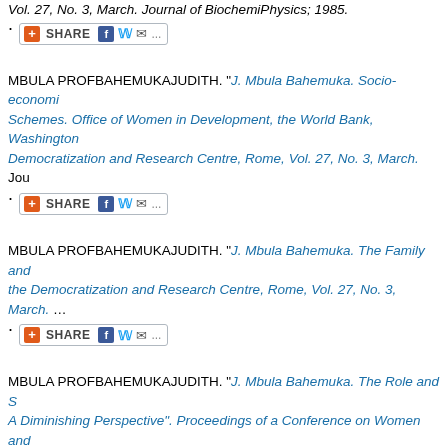Vol. 27, No. 3, March. Journal of BiochemiPhysics; 1985.
[SHARE button]
MBULA PROFBAHEMUKAJUDITH. "J. Mbula Bahemuka. Socio-economi... Schemes. Office of Women in Development, the World Bank, Washington... Democratization and Research Centre, Rome, Vol. 27, No. 3, March. Jou...
[SHARE button]
MBULA PROFBAHEMUKAJUDITH. "J. Mbula Bahemuka. The Family and... the Democratization and Research Centre, Rome, Vol. 27, No. 3, March. ...
[SHARE button]
MBULA PROFBAHEMUKAJUDITH. "J. Mbula Bahemuka. The Role and S... A Diminishing Perspective". Proceedings of a Conference on Women and... November.". In: Published by the Democratization and Research Centre, ... BiochemiPhysics; 1993.
[SHARE button]
MBULA PROFBAHEMUKAJUDITH. "J. Mbula Bahemuka. The Role of Re... People. Proceedings of Primary Health Care Conference. National Counc... In: Published by the Democratization and Research Centre, Rome...